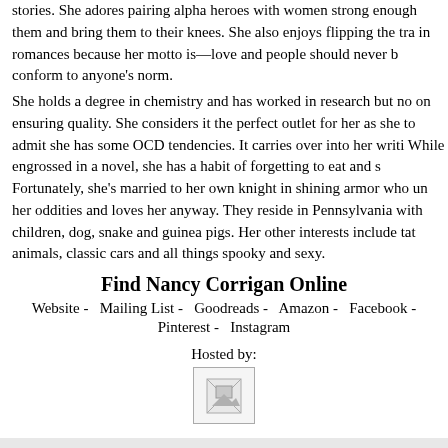stories. She adores pairing alpha heroes with women strong enough to challenge them and bring them to their knees. She also enjoys flipping the tradi... in romances because her motto is—love and people should never be forced to conform to anyone's norm.
She holds a degree in chemistry and has worked in research but no... on ensuring quality. She considers it the perfect outlet for her as she... to admit she has some OCD tendencies. It carries over into her writi... While engrossed in a novel, she has a habit of forgetting to eat and s... Fortunately, she's married to her own knight in shining armor who un... her oddities and loves her anyway. They reside in Pennsylvania with... children, dog, snake and guinea pigs. Her other interests include tat... animals, classic cars and all things spooky and sexy.
Find Nancy Corrigan Online
Website  -   Mailing List  -   Goodreads  -   Amazon  -   Facebook  -  Pinterest  -   Instagram
Hosted by:
[Figure (photo): Broken/placeholder image thumbnail]
By Unknown - December 29, 2016    No comments:
Labels: Paranormal, Romance, Series